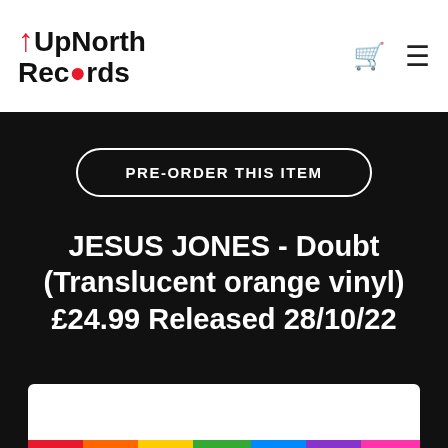[Figure (logo): UpNorth Records logo with red upward arrow on the U]
JESUS JONES - Doubt (Translucent orange vinyl) £24.99 Released 28/10/22
PRE-ORDER THIS ITEM
[Figure (photo): Product image area showing album artwork at bottom, partially visible with colorful bottom edge]